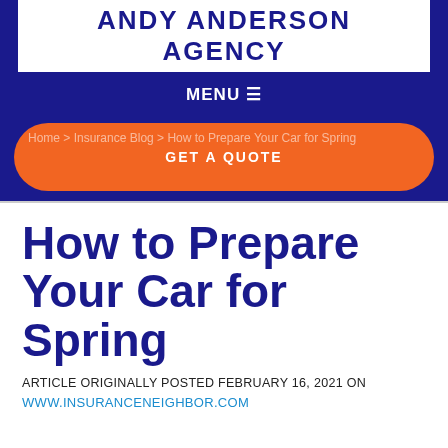ANDY ANDERSON AGENCY
MENU ☰
GET A QUOTE
Home > Insurance Blog > How to Prepare Your Car for Spring
How to Prepare Your Car for Spring
ARTICLE ORIGINALLY POSTED FEBRUARY 16, 2021 ON
WWW.INSURANCENEIGHBOR.COM